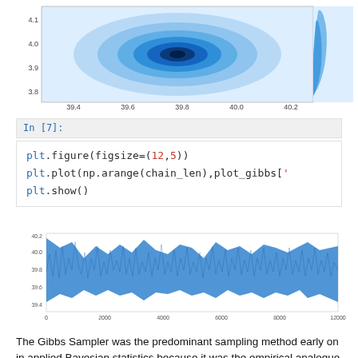[Figure (continuous-plot): 2D contour/KDE plot showing a bivariate distribution with x-axis labeled 'mean' ranging from 39.4 to 40.2, and y-axis ranging from 3.8 to 4.1. Dark blue concentrated region in the center with lighter blue contours radiating outward. A marginal density plot appears on the right side.]
In [7]:
plt.figure(figsize=(12,5))
plt.plot(np.arange(chain_len),plot_gibbs['
plt.show()
[Figure (continuous-plot): Time series / trace plot showing MCMC chain samples. X-axis from 0 to 12000, y-axis from about 39.4 to 40.2. Dense blue oscillating line representing sampled values across iterations.]
The Gibbs Sampler was the predominant sampling method early on in applied Bayesian statistics because it was the empirical analogue of conjugate priors (the focus...